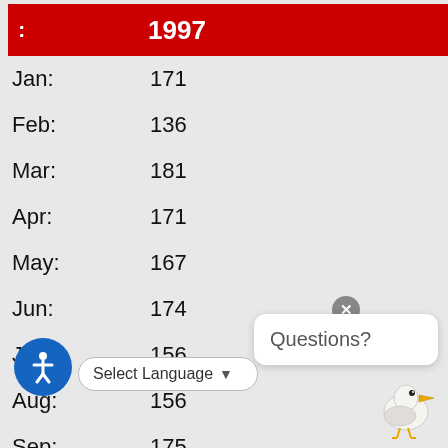| : | 1997 |
| --- | --- |
| Jan: | 171 |
| Feb: | 136 |
| Mar: | 181 |
| Apr: | 171 |
| May: | 167 |
| Jun: | 174 |
| Jul: | 156 |
| Aug: | 156 |
| Sep: | 175 |
| Oct: | 183 |
| Nov: | 156 |
| Total: | 2006 |